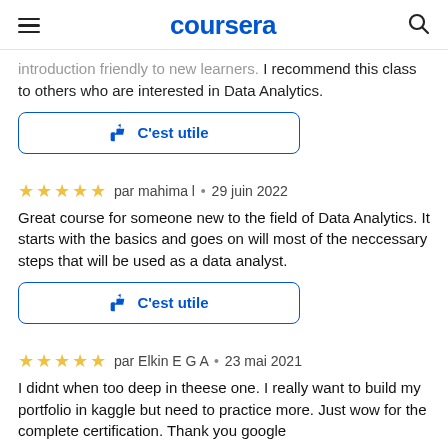coursera
introduction friendly to new learners. I recommend this class to others who are interested in Data Analytics.
[Figure (other): C'est utile (helpful) button with thumbs-up icon, blue outlined rounded rectangle]
par mahima l • 29 juin 2022
Great course for someone new to the field of Data Analytics. It starts with the basics and goes on will most of the neccessary steps that will be used as a data analyst.
[Figure (other): C'est utile (helpful) button with thumbs-up icon, blue outlined rounded rectangle]
par Elkin E G A • 23 mai 2021
I didnt when too deep in theese one. I really want to build my portfolio in kaggle but need to practice more. Just wow for the complete certification. Thank you google